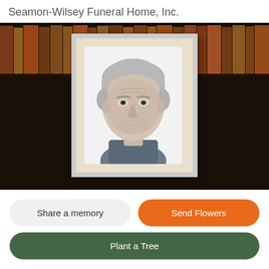Seamon-Wilsey Funeral Home, Inc.
[Figure (photo): Portrait of an elderly man with grey hair, framed in a white picture frame with cream mat, set against a dark background of old books on shelves.]
Share a memory
Send Flowers
Plant a Tree